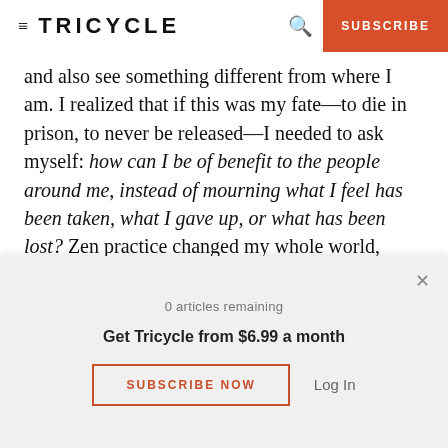≡ TRICYCLE   🔍   SUBSCRIBE
and also see something different from where I am. I realized that if this was my fate—to die in prison, to never be released—I needed to ask myself: how can I be of benefit to the people around me, instead of mourning what I feel has been taken, what I gave up, or what has been lost? Zen practice changed my whole world, changed everything. It gave me life.
0 articles remaining
Get Tricycle from $6.99 a month
SUBSCRIBE NOW   Log In